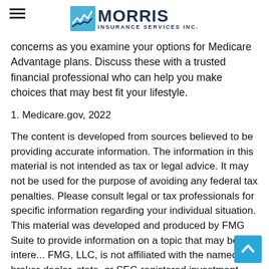Morris Insurance Services Inc.
concerns as you examine your options for Medicare Advantage plans. Discuss these with a trusted financial professional who can help you make choices that may best fit your lifestyle.
1. Medicare.gov, 2022
The content is developed from sources believed to be providing accurate information. The information in this material is not intended as tax or legal advice. It may not be used for the purpose of avoiding any federal tax penalties. Please consult legal or tax professionals for specific information regarding your individual situation. This material was developed and produced by FMG Suite to provide information on a topic that may be of intere... FMG, LLC, is not affiliated with the named broker-dealer, state, or SEC-registered investment advisory firm. The